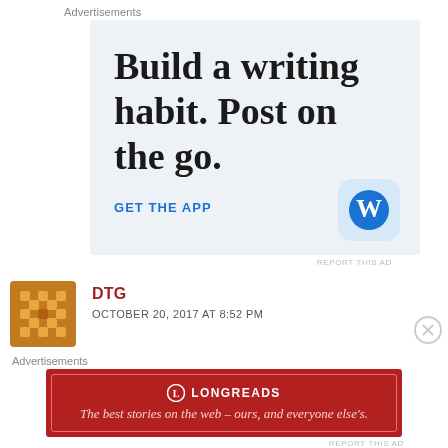Advertisements
[Figure (infographic): WordPress app advertisement with large serif text 'Build a writing habit. Post on the go.' and a blue 'GET THE APP' link, WordPress logo on blue rounded square background]
REPORT THIS AD
DTG
OCTOBER 20, 2017 AT 8:52 PM
Advertisements
[Figure (infographic): Longreads advertisement on red background: 'The best stories on the web – ours, and everyone else's.']
REPORT THIS AD